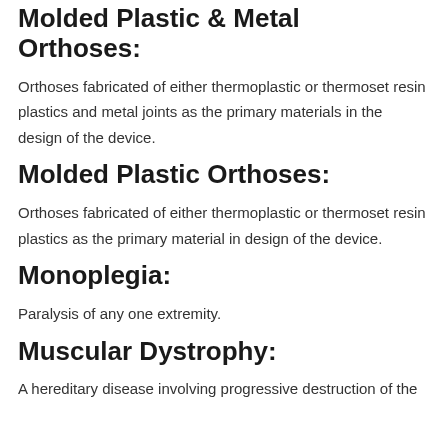Molded Plastic & Metal Orthoses:
Orthoses fabricated of either thermoplastic or thermoset resin plastics and metal joints as the primary materials in the design of the device.
Molded Plastic Orthoses:
Orthoses fabricated of either thermoplastic or thermoset resin plastics as the primary material in design of the device.
Monoplegia:
Paralysis of any one extremity.
Muscular Dystrophy:
A hereditary disease involving progressive destruction of the